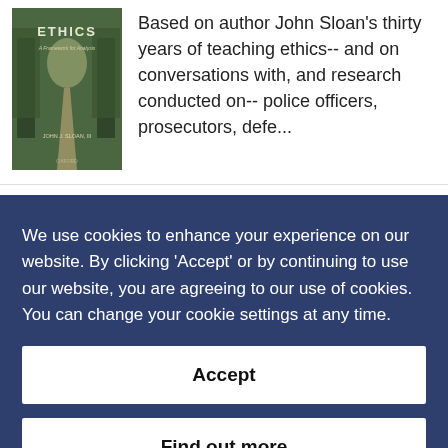[Figure (illustration): Book cover for 'Ethics: A Framework for Analysis' by John J. Sloan III, published by Oxford. Shows a forest path.]
Based on author John Sloan's thirty years of teaching ethics-- and on conversations with, and research conducted on-- police officers, prosecutors, defe...
We use cookies to enhance your experience on our website. By clicking 'Accept' or by continuing to use our website, you are agreeing to our use of cookies. You can change your cookie settings at any time.
Accept
Find out more